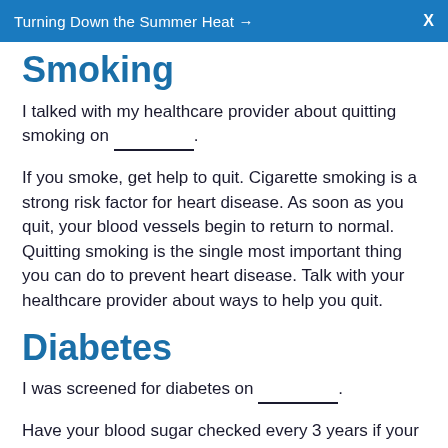Turning Down the Summer Heat →   X
Smoking
I talked with my healthcare provider about quitting smoking on _________.
If you smoke, get help to quit. Cigarette smoking is a strong risk factor for heart disease. As soon as you quit, your blood vessels begin to return to normal. Quitting smoking is the single most important thing you can do to prevent heart disease. Talk with your healthcare provider about ways to help you quit.
Diabetes
I was screened for diabetes on _________.
Have your blood sugar checked every 3 years if your reading is normal. Early detection and treatment of high